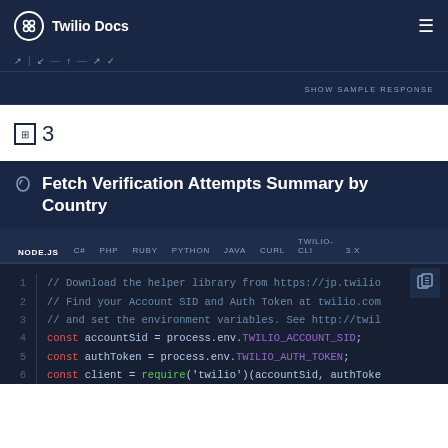Twilio Docs
SHOW SAMPLE RESPONSE
3
Fetch Verification Attempts Summary by Country
NODE.JS  C#  PHP  RUBY  PYTHON  JAVA  CURL  TWILIO-CLI  3.X
1  // Download the helper library from https://jp.twilio
2  // Find your Account SID and Auth Token at twilio.com
3  // and set the environment variables. See http://twil
4  const accountSid = process.env.TWILIO_ACCOUNT_SID;
5  const authToken = process.env.TWILIO_AUTH_TOKEN;
6  const client = require('twilio')(accountSid, authToke